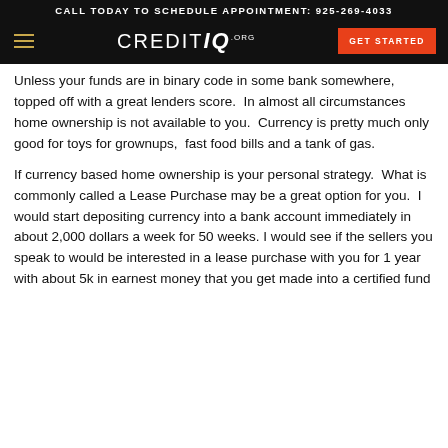CALL TODAY TO SCHEDULE APPOINTMENT: 925-269-4033
[Figure (logo): CreditIQ.org navigation bar with hamburger menu, logo, and Get Started button]
Unless your funds are in binary code in some bank somewhere,  topped off with a great lenders score.  In almost all circumstances home ownership is not available to you.  Currency is pretty much only good for toys for grownups,  fast food bills and a tank of gas.
If currency based home ownership is your personal strategy.  What is commonly called a Lease Purchase may be a great option for you.  I would start depositing currency into a bank account immediately in about 2,000 dollars a week for 50 weeks. I would see if the sellers you speak to would be interested in a lease purchase with you for 1 year with about 5k in earnest money that you get made into a certified fund